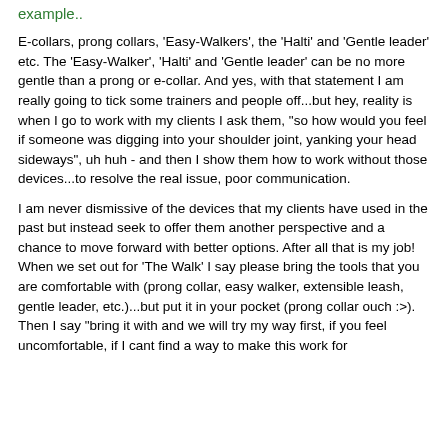example..
E-collars, prong collars, 'Easy-Walkers', the 'Halti' and 'Gentle leader' etc. The 'Easy-Walker', 'Halti' and 'Gentle leader' can be no more gentle than a prong or e-collar. And yes, with that statement I am really going to tick some trainers and people off...but hey, reality is when I go to work with my clients I ask them, "so how would you feel if someone was digging into your shoulder joint, yanking your head sideways", uh huh - and then I show them how to work without those devices...to resolve the real issue, poor communication.
I am never dismissive of the devices that my clients have used in the past but instead seek to offer them another perspective and a chance to move forward with better options. After all that is my job! When we set out for 'The Walk' I say please bring the tools that you are comfortable with (prong collar, easy walker, extensible leash, gentle leader, etc.)...but put it in your pocket (prong collar ouch :>). Then I say "bring it with and we will try my way first, if you feel uncomfortable, if I cant find a way to make this work for